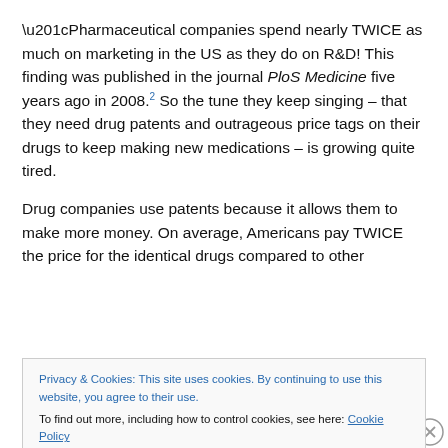“Pharmaceutical companies spend nearly TWICE as much on marketing in the US as they do on R&D! This finding was published in the journal PloS Medicine five years ago in 2008.2 So the tune they keep singing – that they need drug patents and outrageous price tags on their drugs to keep making new medications – is growing quite tired.
Drug companies use patents because it allows them to make more money. On average, Americans pay TWICE the price for the identical drugs compared to other
Privacy & Cookies: This site uses cookies. By continuing to use this website, you agree to their use. To find out more, including how to control cookies, see here: Cookie Policy
The related article is packed with all kinds of illuminating